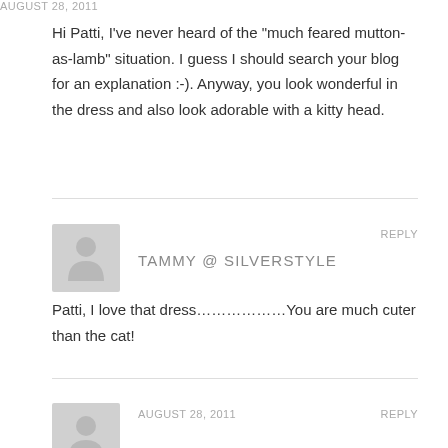Hi Patti, I've never heard of the "much feared mutton-as-lamb" situation. I guess I should search your blog for an explanation :-). Anyway, you look wonderful in the dress and also look adorable with a kitty head.
AUGUST 28, 2011
REPLY
TAMMY @ SILVERSTYLE
Patti, I love that dress………………You are much cuter than the cat!
AUGUST 28, 2011
REPLY